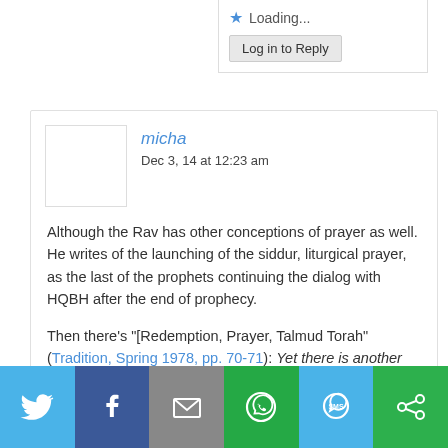Loading...
Log in to Reply
micha
Dec 3, 14 at 12:23 am
Although the Rav has other conceptions of prayer as well. He writes of the launching of the siddur, liturgical prayer, as the last of the prophets continuing the dialog with HQBH after the end of prophecy.
Then there’s “[Redemption, Prayer, Talmud Torah” (Tradition, Spring 1978, pp. 70-71): Yet there is another aspect to prayer; prayer is